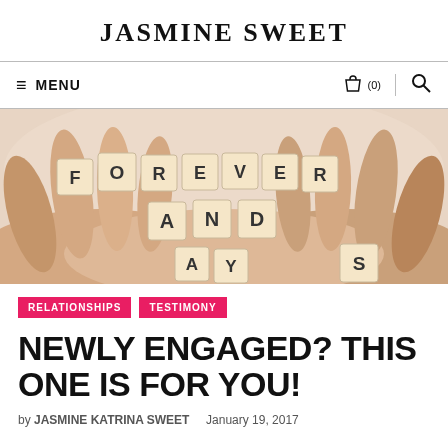JASMINE SWEET
[Figure (screenshot): Navigation bar with hamburger menu icon, MENU text, shopping bag icon with (0) count, and search icon]
[Figure (photo): Two hands cupped together holding Scrabble tiles spelling out FOREVER AND ALWAYS]
RELATIONSHIPS   TESTIMONY
NEWLY ENGAGED? THIS ONE IS FOR YOU!
by JASMINE KATRINA SWEET    January 19, 2017